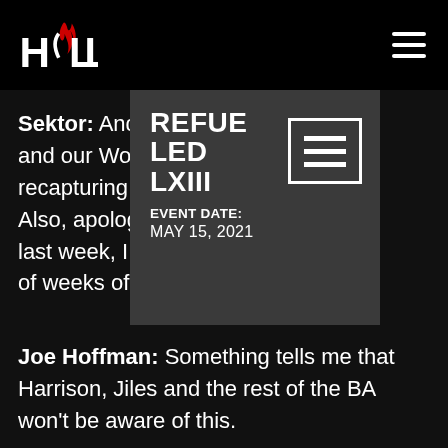HCW logo and navigation header
Sektor: And ...eve Harrison and our Wor... ...cer Jiles, for recapturing t... ...for US! Also, apologi... ...wledging this last week, I n... ...out a couple of weeks of my life *ahem*.
[Figure (infographic): Popup card showing: REFUELED LXIII with hamburger menu icon, EVENT DATE: MAY 15, 2021]
Joe Hoffman: Something tells me that Harrison, Jiles and the rest of the BA won't be aware of this.